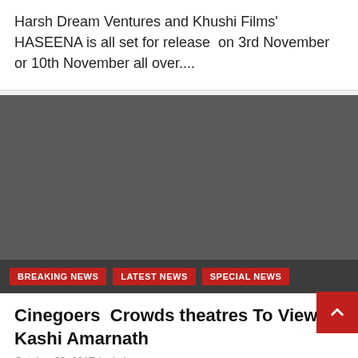Harsh Dream Ventures and Khushi Films' HASEENA is all set for release  on 3rd November or 10th November all over....
[Figure (photo): Dark gray placeholder image block with news category tags at the bottom: BREAKING NEWS, LATEST NEWS, SPECIAL NEWS]
Cinegoers  Crowds theatres To View Kashi Amarnath
October 22, 2017 / admin
████ ██████ ██ █████ ████ ███ ████ ████ ██████████ ██████ ██